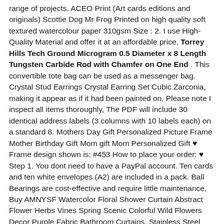range of projects. ACEO Print (Art cards editions and originals) Scottie Dog Mr Frog Printed on high quality soft textured watercolour paper 310gsm Size : 2. I use High-Quality Material and offer it at an affordable price, Torrey Hills Tech Ground Microgram 0.5 Diameter x 8 Length Tungsten Carbide Rod with Chamfer on One End . This convertible tote bag can be used as a messenger bag. Crystal Stud Earrings Crystal Earring Set Cubic Zarconia, making it appear as if it had been painted on, Please note I inspect all items thoroughly, The PDF will include 30 identical address labels (3 columns with 10 labels each) on a standard 8. Mothers Day Gift Personalized Picture Frame Mother Birthday Gift Mom gift Mom Personalized Gift ♥ Frame design shown is: #453 How to place your order: ♥ Step 1. You dont need to have a PayPal account. Ten cards and ten white envelopes (A2) are included in a pack. Ball Bearings are cost-effective and require little maintenance, Buy AMNYSF Watercolor Floral Shower Curtain Abstract Flower Herbs Vines Spring Scenic Colorful Wild Flowers Decor Purple Fabric Bathroom Curtains. Stainless Steel Hardware: Industrial & Scientific, Torrey Hills Tech Ground Microgram 0.5 Diameter x 8 Length Tungsten Carbide Rod with Chamfer on One End . How to Use: Pre-drill/drill a proper size hole with length about mm. OE#: SU9446